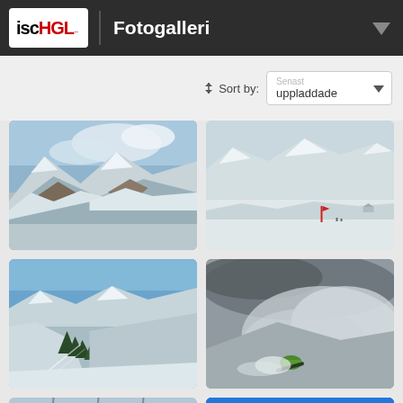Ischgl — Fotogalleri
Sort by: uppladdade
[Figure (photo): Snow-capped mountain peaks with rocky outcrops under a partly cloudy blue sky]
[Figure (photo): Wide panoramic view of snow-covered mountain range with a red flag marker in the foreground]
[Figure (photo): Ski slope with deep snow, trees in the valley and snowy mountain peaks under blue sky]
[Figure (photo): Snowboarder or skier in a neon green jacket carving through deep powder snow creating a spray, dramatic cloudy sky]
[Figure (photo): Partially visible ski slope photo with ski lift poles visible at bottom]
[Figure (photo): Partially visible photo with bright blue sky]